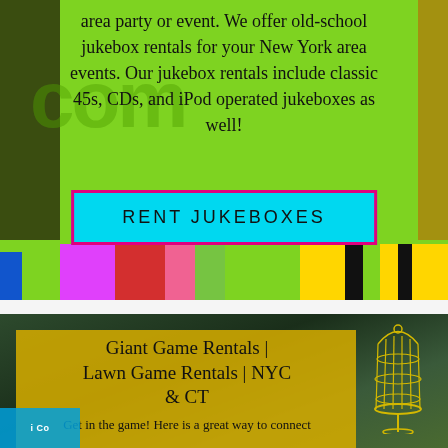area party or event. We offer old-school jukebox rentals for your New York area events. Our jukebox rentals include classic 45s, CDs, and iPod operated jukeboxes as well!
RENT JUKEBOXES
[Figure (illustration): Colorful horizontal stripes in pink, red, yellow, green, black — bottom stripe bar of jukebox themed section]
[Figure (photo): Outdoor garden scene with dark green trees in the background and a decorative yellow birdcage on the right side]
Giant Game Rentals | Lawn Game Rentals | NYC & CT
Get in the game! Here is a great way to connect